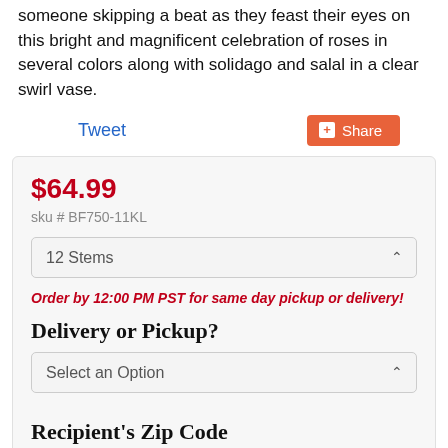someone skipping a beat as they feast their eyes on this bright and magnificent celebration of roses in several colors along with solidago and salal in a clear swirl vase.
Tweet
Share
$64.99
sku # BF750-11KL
12 Stems
Order by 12:00 PM PST for same day pickup or delivery!
Delivery or Pickup?
Select an Option
Recipient's Zip Code
Enter Zip Code